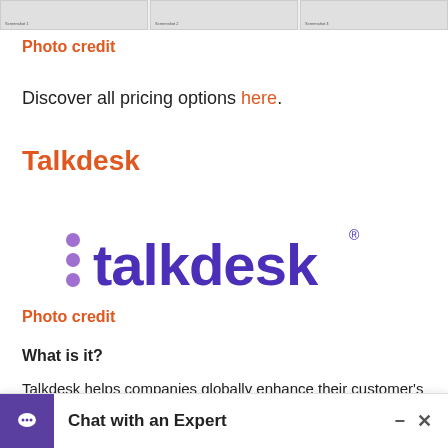[Figure (screenshot): Three small thumbnail screenshots shown in a strip at the top of the page]
Photo credit
Discover all pricing options here.
Talkdesk
[Figure (logo): Talkdesk logo — purple text ':talkdesk' with three purple dots on the left and a registered trademark symbol]
Photo credit
What is it?
Talkdesk helps companies globally enhance their customer's experience through any channel, anywhere.
Not only does Talkdesk focus on the customer's experience, but businesses as well, with Talkdesk helping to